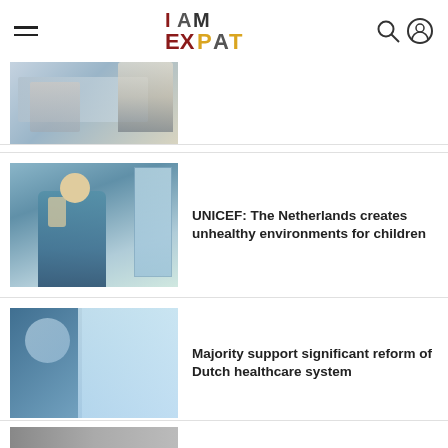I AM EXPAT
[Figure (photo): Partial view of medical/kitchen scene with people and equipment]
[Figure (photo): Child sitting alone by a window, looking sad]
UNICEF: The Netherlands creates unhealthy environments for children
[Figure (photo): Medical professional in blue scrubs in a hospital corridor]
Majority support significant reform of Dutch healthcare system
[Figure (photo): Partial image of another article at bottom]